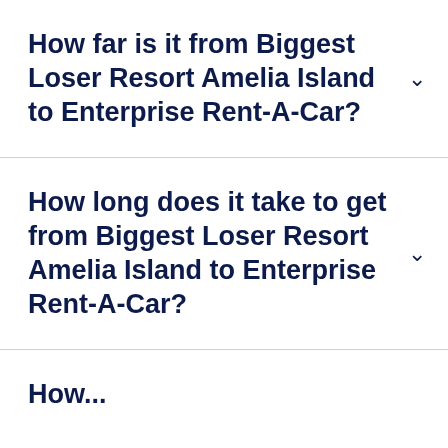How far is it from Biggest Loser Resort Amelia Island to Enterprise Rent-A-Car?
How long does it take to get from Biggest Loser Resort Amelia Island to Enterprise Rent-A-Car?
How...